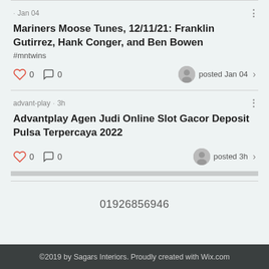· Jan 04
Mariners Moose Tunes, 12/11/21: Franklin Gutirrez, Hank Conger, and Ben Bowen
#mntwins
0  0  posted Jan 04
advant-play · 3h
Advantplay Agen Judi Online Slot Gacor Deposit Pulsa Terpercaya 2022
0  0  posted 3h
01926856946
©2019 by Sagars Interiors. Proudly created with Wix.com